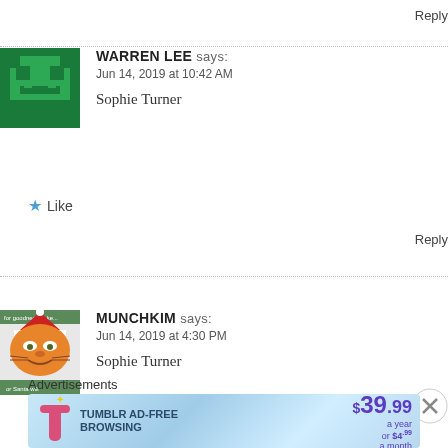Reply
[Figure (illustration): Green pixel/Minecraft-style avatar icon]
WARREN LEE says:
Jun 14, 2019 at 10:42 AM

Sophie Turner
Like
Reply
[Figure (illustration): Garfield dressed as Santa Claus avatar image with text 'for goodness sake...' and 'or Santa will']
MUNCHKIM says:
Jun 14, 2019 at 4:30 PM

Sophie Turner
Like
Reply
Advertisements
[Figure (illustration): Tumblr Ad-Free Browsing advertisement banner: $39.99 a year or $4.99 a month]